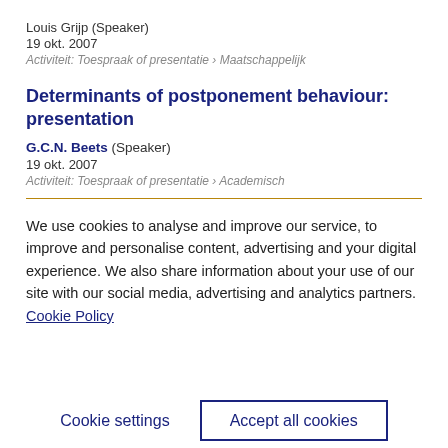Louis Grijp (Speaker)
19 okt. 2007
Activiteit: Toespraak of presentatie › Maatschappelijk
Determinants of postponement behaviour: presentation
G.C.N. Beets (Speaker)
19 okt. 2007
Activiteit: Toespraak of presentatie › Academisch
We use cookies to analyse and improve our service, to improve and personalise content, advertising and your digital experience. We also share information about your use of our site with our social media, advertising and analytics partners.  Cookie Policy
Cookie settings
Accept all cookies